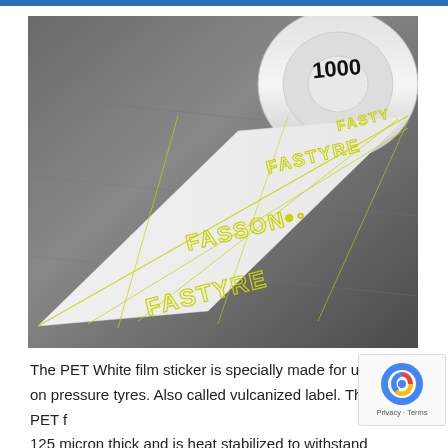[Figure (photo): A roll of white label tape (PET film stickers) printed with 'FASSON FASTYRE' text in yellow/green outlines, unrolled on a metal surface. The roll end shows '1000' printed on it.]
The PET White film sticker is specially made for use on pressure tyres. Also called vulcanized label. The PET f... 125 micron thick and is heat stabilized to withstand pressure.